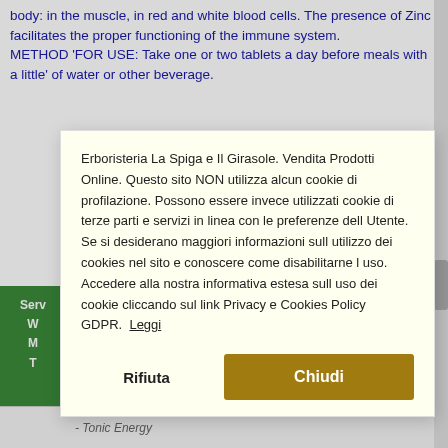body: in the muscle, in red and white blood cells. The presence of Zinc facilitates the proper functioning of the immune system.
METHOD 'FOR USE: Take one or two tablets a day before meals with a little' of water or other beverage.
Erboristeria La Spiga e Il Girasole. Vendita Prodotti Online. Questo sito NON utilizza alcun cookie di profilazione. Possono essere invece utilizzati cookie di terze parti e servizi in linea con le preferenze dell Utente. Se si desiderano maggiori informazioni sull utilizzo dei cookies nel sito e conoscere come disabilitarne l uso. Accedere alla nostra informativa estesa sull uso dei cookie cliccando sul link Privacy e Cookies Policy GDPR.  Leggi
Rifiuta
Chiudi
- Tonic Energy